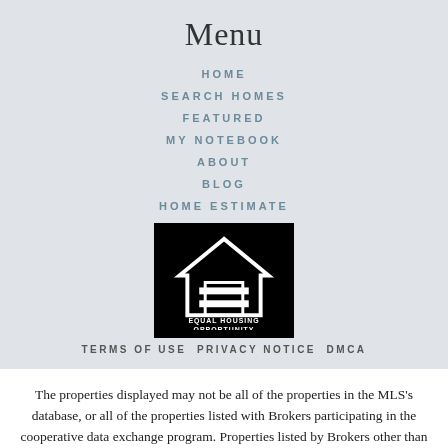Menu
HOME
SEARCH HOMES
FEATURED
MY NOTEBOOK
ABOUT
BLOG
HOME ESTIMATE
[Figure (logo): Equal Housing Opportunity logo: black square with white house outline and equals sign, text EQUAL HOUSING OPPORTUNITY below]
TERMS OF USE PRIVACY NOTICE DMCA
The properties displayed may not be all of the properties in the MLS's database, or all of the properties listed with Brokers participating in the cooperative data exchange program. Properties listed by Brokers other than this Broker are marked with either the listing Broker's logo or name or the MLS name or a logo provided by the MLS. Detailed information about such properties includes the name of the